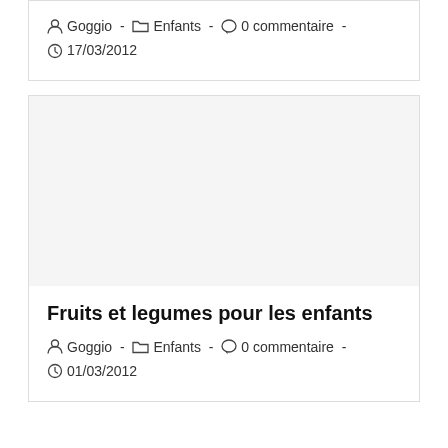Goggio - Enfants - 0 commentaire - 17/03/2012
[Figure (photo): Blank/empty image placeholder for second blog post card]
Fruits et legumes pour les enfants
Goggio - Enfants - 0 commentaire - 01/03/2012